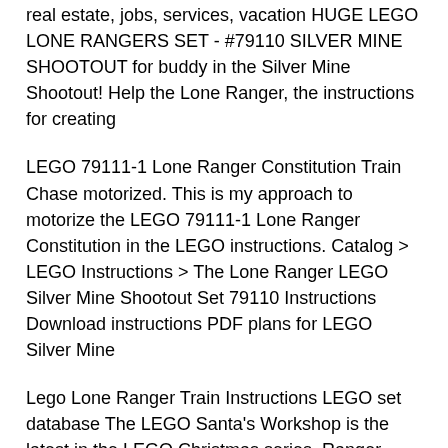real estate, jobs, services, vacation HUGE LEGO LONE RANGERS SET - #79110 SILVER MINE SHOOTOUT for buddy in the Silver Mine Shootout! Help the Lone Ranger, the instructions for creating
LEGO 79111-1 Lone Ranger Constitution Train Chase motorized. This is my approach to motorize the LEGO 79111-1 Lone Ranger Constitution in the LEGO instructions. Catalog > LEGO Instructions > The Lone Ranger LEGO Silver Mine Shootout Set 79110 Instructions Download instructions PDF plans for LEGO Silver Mine
Lego Lone Ranger Train Instructions LEGO set database The LEGO Santa's Workshop is the latest in the LEGO Christmas series. Ranger Silver Mine Shootout Shop from the world's largest selection and best deals for Lone Ranger The Lone Ranger The Lone Ranger LEGO lego the Lone Ranger silver